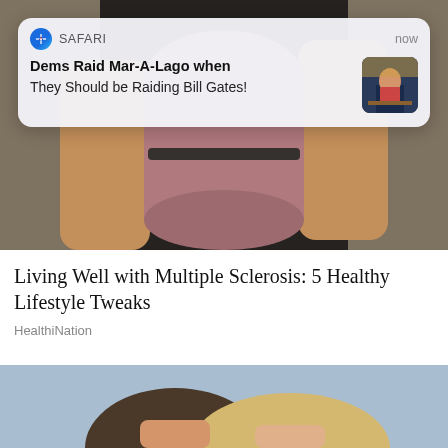[Figure (screenshot): Background image at top showing top of person's head with dark hair]
[Figure (screenshot): iOS Safari push notification card reading: SAFARI / now / Dems Raid Mar-A-Lago when They Should be Raiding Bill Gates! with a thumbnail image of a person in a suit]
[Figure (photo): Photo of a person in a black tank top holding a rolled pink/purple yoga mat]
Living Well with Multiple Sclerosis: 5 Healthy Lifestyle Tweaks
HealthiNation
[Figure (photo): Photo showing two people, one with blonde hair and one with dark hair, cropped at top of frame]